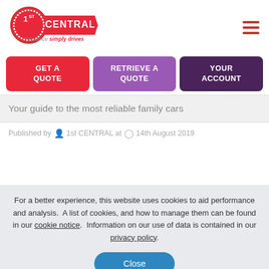[Figure (logo): 1st CENTRAL Insurance - Insurance simply drives logo with red circular badge and red banner]
GET A QUOTE
RETRIEVE A QUOTE
YOUR ACCOUNT
Your guide to the most reliable family cars
Published by  1st CENTRAL at  14th August 2019
For a better experience, this website uses cookies to aid performance and analysis.  A list of cookies, and how to manage them can be found in our cookie notice.  Information on our use of data is contained in our privacy policy.
Close